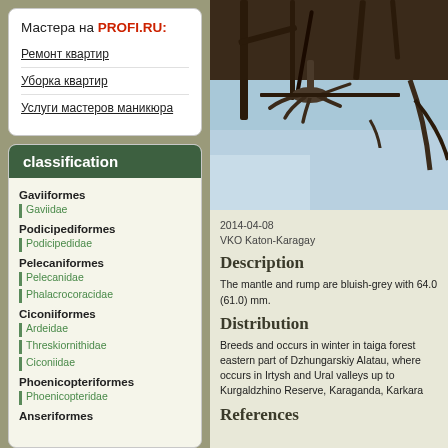Мастера на PROFI.RU:
Ремонт квартир
Уборка квартир
Услуги мастеров маникюра
classification
Gaviiformes
Gaviidae
Podicipediformes
Podicipedidae
Pelecaniformes
Pelecanidae
Phalacrocoracidae
Ciconiiformes
Ardeidae
Threskiornithidae
Ciconiidae
Phoenicopteriformes
Phoenicopteridae
Anseriformes
[Figure (photo): Bird feet/talons gripping a branch against a blue sky background]
2014-04-08
VKO Katon-Karagay
Description
The mantle and rump are bluish-grey with 64.0 (61.0) mm.
Distribution
Breeds and occurs in winter in taiga forest eastern part of Dzhungarskiy Alatau, where occurs in Irtysh and Ural valleys up to Kurgaldzhino Reserve, Karaganda, Karkara
References